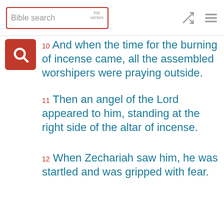Bible search | top verses
10 And when the time for the burning of incense came, all the assembled worshipers were praying outside.
11 Then an angel of the Lord appeared to him, standing at the right side of the altar of incense.
12 When Zechariah saw him, he was startled and was gripped with fear.
13 But the angel said to him: "Do not be afraid, Zechariah; your prayer has been heard. Your wife Elizabeth will bear you a son, and you are to call him John."